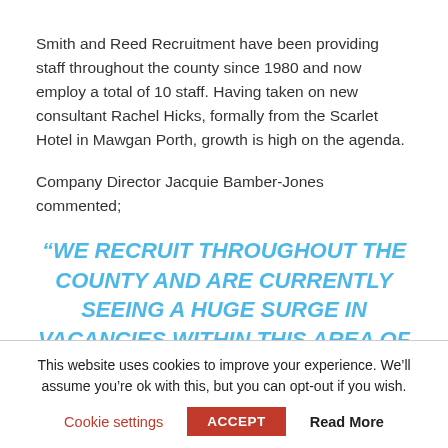Smith and Reed Recruitment have been providing staff throughout the county since 1980 and now employ a total of 10 staff. Having taken on new consultant Rachel Hicks, formally from the Scarlet Hotel in Mawgan Porth, growth is high on the agenda.
Company Director Jacquie Bamber-Jones commented;
“WE RECRUIT THROUGHOUT THE COUNTY AND ARE CURRENTLY SEEING A HUGE SURGE IN VACANCIES WITHIN THIS AREA OF SPECIALISM.
This website uses cookies to improve your experience. We’ll assume you’re ok with this, but you can opt-out if you wish.
Cookie settings   ACCEPT   Read More